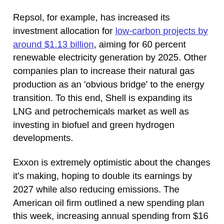Repsol, for example, has increased its investment allocation for low-carbon projects by around $1.13 billion, aiming for 60 percent renewable electricity generation by 2025. Other companies plan to increase their natural gas production as an 'obvious bridge' to the energy transition. To this end, Shell is expanding its LNG and petrochemicals market as well as investing in biofuel and green hydrogen developments.
Exxon is extremely optimistic about the changes it's making, hoping to double its earnings by 2027 while also reducing emissions. The American oil firm outlined a new spending plan this week, increasing annual spending from $16 billion to $19 billion to $20 billion and $25 billion, following more favorable market conditions coming out of the pandemic. Exxon has stated it will be investing $15 billion on emissions-reducing technologies, aimed at cleaning up existing operations through carbon capture and storage technologies, among other innovations.